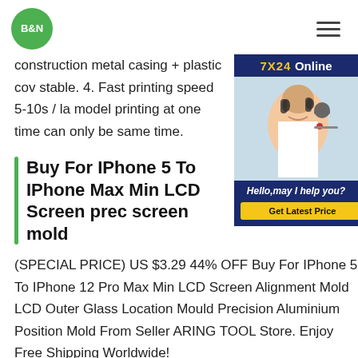B&N
construction metal casing + plastic cover stable. 4. Fast printing speed 5-10s / la model printing at one time can only be same time.
[Figure (photo): 7X24 Online customer service advertisement widget with a woman wearing a headset, 'Hello, may I help you?' text, and a 'Get Latest Price' button]
Buy For IPhone 5 To IPhone Max Min LCD Screen prec screen mold
(SPECIAL PRICE) US $3.29 44% OFF Buy For IPhone 5 To IPhone 12 Pro Max Min LCD Screen Alignment Mold LCD Outer Glass Location Mould Precision Aluminium Position Mold From Seller ARING TOOL Store. Enjoy Free Shipping Worldwide!